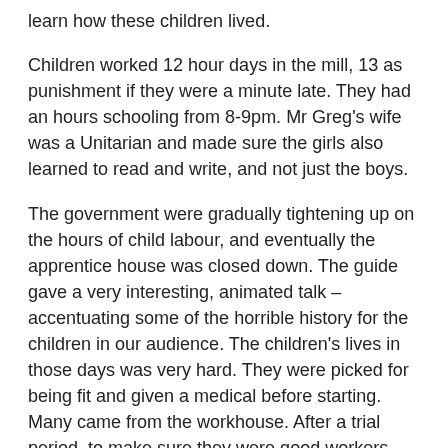learn how these children lived.
Children worked 12 hour days in the mill, 13 as punishment if they were a minute late. They had an hours schooling from 8-9pm. Mr Greg's wife was a Unitarian and made sure the girls also learned to read and write, and not just the boys.
The government were gradually tightening up on the hours of child labour, and eventually the apprentice house was closed down. The guide gave a very interesting, animated talk – accentuating some of the horrible history for the children in our audience. The children's lives in those days was very hard. They were picked for being fit and given a medical before starting. Many came from the workhouse. After a trial period, to make sure they were good workers, they could sign up for anything from 2 to 10 years. In return for work they got the board and lodging.
[Figure (other): Broken/placeholder image icon]
There are also some beautiful gardens at Quarry Bank, with